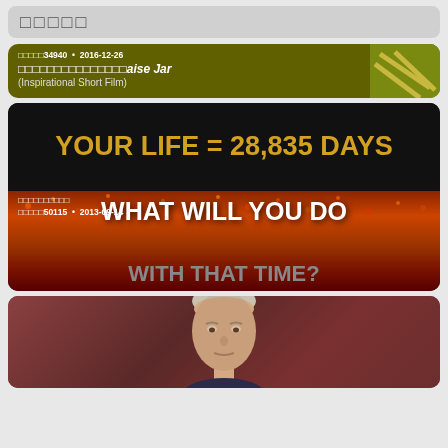[Figure (screenshot): Search bar with placeholder dots at the top of a mobile app interface]
[Figure (screenshot): Video thumbnail showing text 'YOUR LIFE = 28,835 DAYS' in gold on black, and 'WHAT WILL YOU DO WITH THAT TIME?' overlay on crowd image. Meta: 再生回数34940 • 2016-12-26 (Inspirational Short Film)]
再生回数34940 • 2016-12-26
(Inspirational Short Film)
YOUR LIFE = 28,835 DAYS
WHAT WILL YOU DO
WITH THAT TIME?
おすすめの動画
再生回数50115 • 2013-09-14
[Figure (photo): Photo of Vladimir Putin partially visible at the bottom of the screen]